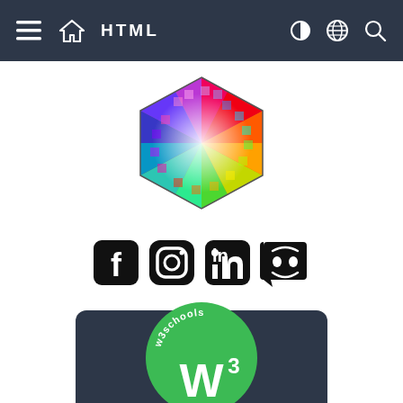HTML
[Figure (illustration): Hexagonal color wheel logo with rainbow spectrum of colors]
[Figure (illustration): Social media icons row: Facebook, Instagram, LinkedIn, Discord]
Get certified by completing a Java course today!
[Figure (logo): w3schools certification badge - green circle with w3 logo and w3schools text arc]